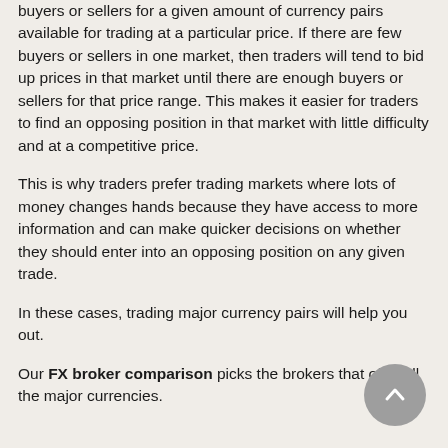buyers or sellers for a given amount of currency pairs available for trading at a particular price. If there are few buyers or sellers in one market, then traders will tend to bid up prices in that market until there are enough buyers or sellers for that price range. This makes it easier for traders to find an opposing position in that market with little difficulty and at a competitive price.
This is why traders prefer trading markets where lots of money changes hands because they have access to more information and can make quicker decisions on whether they should enter into an opposing position on any given trade.
In these cases, trading major currency pairs will help you out.
Our FX broker comparison picks the brokers that offer all the major currencies.